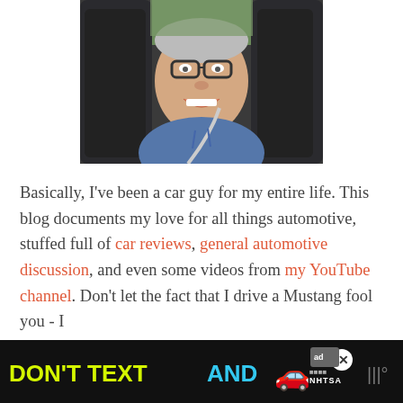[Figure (photo): Selfie of a smiling man wearing glasses and a blue hoodie, sitting in a car with a seatbelt on, dark car interior visible.]
Basically, I've been a car guy for my entire life. This blog documents my love for all things automotive, stuffed full of car reviews, general automotive discussion, and even some videos from my YouTube channel. Don't let the fact that I drive a Mustang fool you - I
[Figure (other): Ad banner: 'DON'T TEXT AND [car emoji]' with NHTSA logo and ad badge, on black background.]